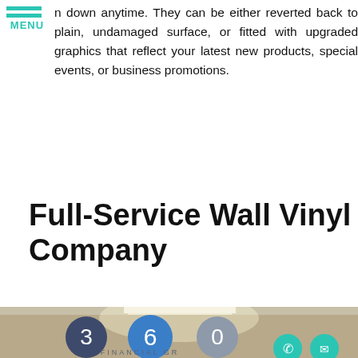n down anytime. They can be either reverted back to plain, undamaged surface, or fitted with upgraded graphics that reflect your latest new products, special events, or business promotions.
Full-Service Wall Vinyl Company
[Figure (photo): Photo of a wall displaying the 360 Financial Group logo — three large circles containing the digits 3, 6, and 0, with 'FINANCIAL GROUP' text below, mounted on a beige/tan wall in an office setting. Two circular icon buttons (phone and email) visible at bottom right.]